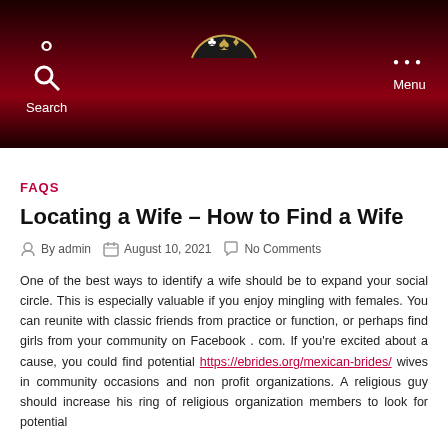Search   [logo]   Menu
FAQS
Locating a Wife – How to Find a Wife
By admin   August 10, 2021   No Comments
One of the best ways to identify a wife should be to expand your social circle. This is especially valuable if you enjoy mingling with females. You can reunite with classic friends from practice or function, or perhaps find girls from your community on Facebook . com. If you're excited about a cause, you could find potential https://ebrides.org/mexican-brides/ wives in community occasions and non profit organizations. A religious guy should increase his ring of religious organization members to look for potential